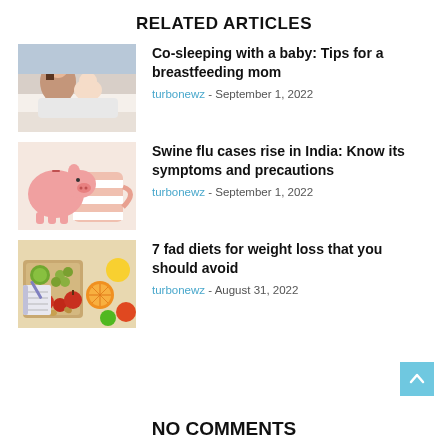RELATED ARTICLES
Co-sleeping with a baby: Tips for a breastfeeding mom | turbonewz - September 1, 2022
Swine flu cases rise in India: Know its symptoms and precautions | turbonewz - September 1, 2022
7 fad diets for weight loss that you should avoid | turbonewz - August 31, 2022
NO COMMENTS